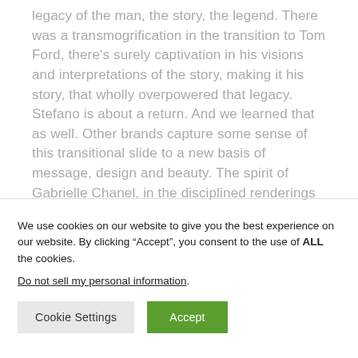legacy of the man, the story, the legend. There was a transmogrification in the transition to Tom Ford, there's surely captivation in his visions and interpretations of the story, making it his story, that wholly overpowered that legacy. Stefano is about a return. And we learned that as well. Other brands capture some sense of this transitional slide to a new basis of message, design and beauty. The spirit of Gabrielle Chanel, in the disciplined renderings of Karl Lagerfeld. Ghesquiere in Balenciaga.
We use cookies on our website to give you the best experience on our website. By clicking “Accept”, you consent to the use of ALL the cookies.
Do not sell my personal information.
Cookie Settings
Accept